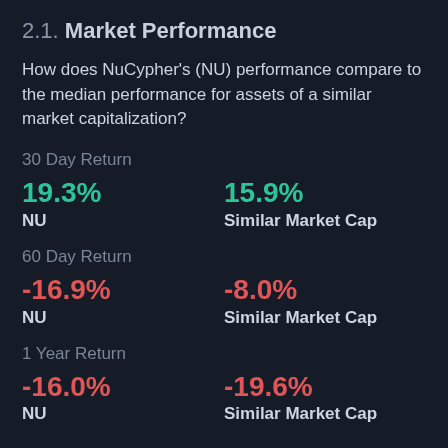2.1. Market Performance
How does NuCypher's (NU) performance compare to the median performance for assets of a similar market capitalization?
30 Day Return
19.3% NU | 15.9% Similar Market Cap
60 Day Return
-16.9% NU | -8.0% Similar Market Cap
1 Year Return
-16.0% NU | -19.6% Similar Market Cap